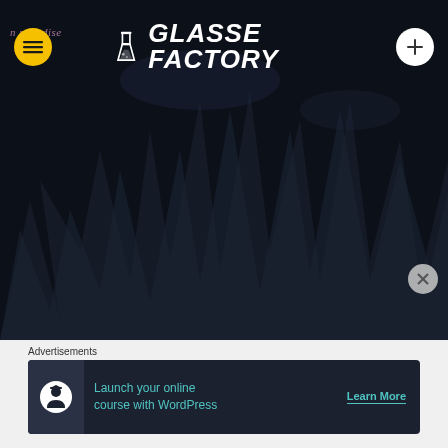[Figure (screenshot): Website header screenshot showing 'Glasse Factory' brand logo with an Erlenmeyer flask icon on a dark forest background. Yellow circular hamburger menu button on the left, white circular plus button on the right. Faint cursive 'n paradise' text visible top left.]
Advertisements
[Figure (screenshot): Advertisement banner: dark navy background with teal circular icon (person with graduation cap), text 'Launch your online course with WordPress' in teal, and 'Learn More' button with underline.]